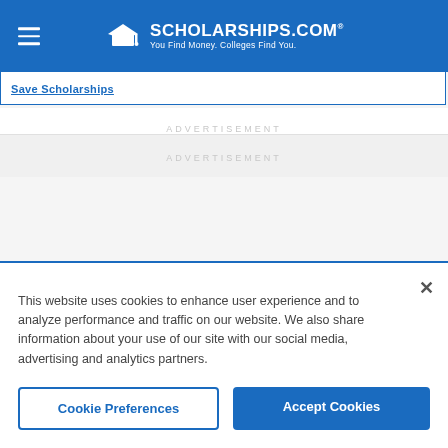[Figure (logo): Scholarships.com logo with graduation cap icon and tagline 'You Find Money. Colleges Find You.']
Save Scholarships
ADVERTISEMENT
ADVERTISEMENT
This website uses cookies to enhance user experience and to analyze performance and traffic on our website. We also share information about your use of our site with our social media, advertising and analytics partners.
Cookie Preferences
Accept Cookies